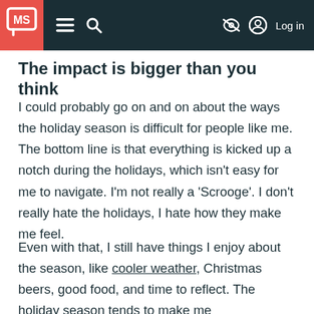MS [logo] — navigation bar with hamburger menu, search, visibility off icon, Log in
The impact is bigger than you think
I could probably go on and on about the ways the holiday season is difficult for people like me. The bottom line is that everything is kicked up a notch during the holidays, which isn't easy for me to navigate. I'm not really a 'Scrooge'. I don't really hate the holidays, I hate how they make me feel.
Even with that, I still have things I enjoy about the season, like cooler weather, Christmas beers, good food, and time to reflect. The holiday season tends to make me